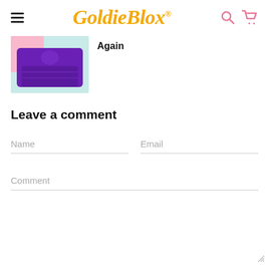GoldieBlox.
[Figure (photo): Purple folded clothing item on a pink and teal background]
Again
Leave a comment
Name
Email
Comment